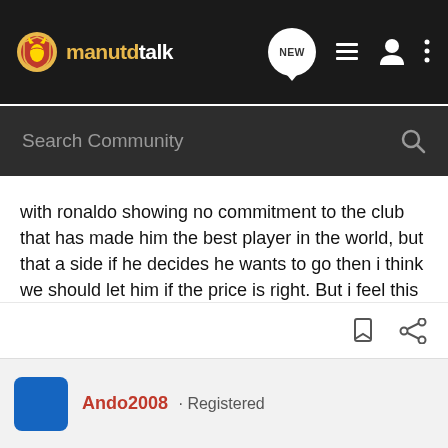manutdtalk — navigation bar with logo, NEW button, list icon, profile icon, more icon
Search Community
with ronaldo showing no commitment to the club that has made him the best player in the world, but that a side if he decides he wants to go then i think we should let him if the price is right. But i feel this because Ashley Young the young villa winger/forward imo is the hottest young prospect in the premier league and i think that not only will he get more assists than ronaldo he will also give you a great asset from set pieces aswell, and his goal tally will rise ever year, i just think this boy would be brilliant in our flexible front line and i think his game would really grow and be brought on to another level at united, anyone got any opinions on this ? 🙂
Ando2008 · Registered